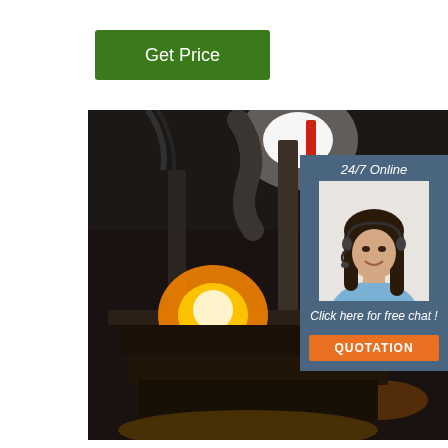Get Price
[Figure (photo): Industrial manufacturing machine with bright orange/yellow flames or light glowing from the machinery, photographed in a dark factory setting with equipment and cables visible.]
24/7 Online
[Figure (photo): Woman with long dark hair wearing a headset, dressed in a light blue shirt, smiling, customer support representative.]
Click here for free chat !
QUOTATION